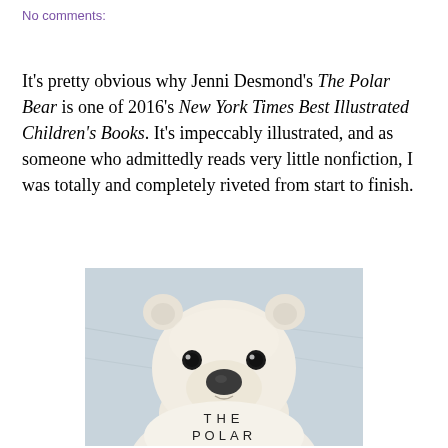No comments:
It's pretty obvious why Jenni Desmond's The Polar Bear is one of 2016's New York Times Best Illustrated Children's Books. It's impeccably illustrated, and as someone who admittedly reads very little nonfiction, I was totally and completely riveted from start to finish.
[Figure (illustration): Illustration of a polar bear face looking forward at the viewer, with text 'THE POLAR' partially visible at the bottom. The bear is depicted in a soft, painterly style with a light blue/grey background. This is the cover of the book 'The Polar Bear' by Jenni Desmond.]